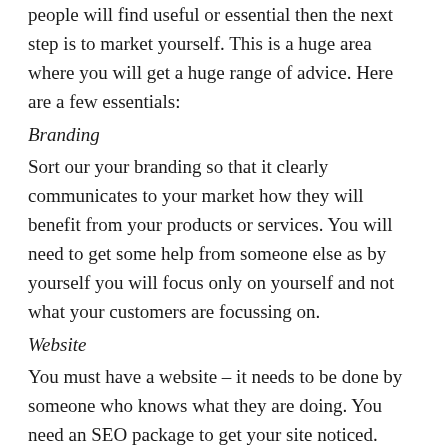people will find useful or essential then the next step is to market yourself. This is a huge area where you will get a huge range of advice. Here are a few essentials:
Branding
Sort our your branding so that it clearly communicates to your market how they will benefit from your products or services. You will need to get some help from someone else as by yourself you will focus only on yourself and not what your customers are focussing on.
Website
You must have a website – it needs to be done by someone who knows what they are doing. You need an SEO package to get your site noticed.
Social Media
You will have to use some effective social media in your